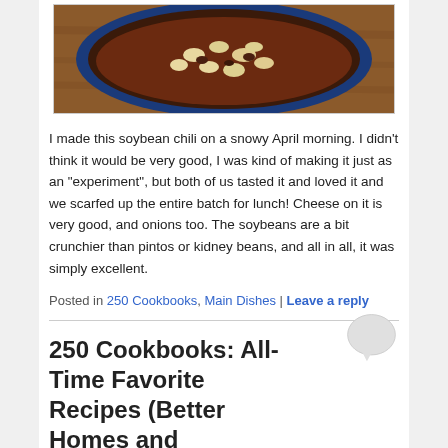[Figure (photo): Bowl of soybean chili on a wooden surface, viewed from above, with a blue rim bowl]
I made this soybean chili on a snowy April morning. I didn’t think it would be very good, I was kind of making it just as an “experiment”, but both of us tasted it and loved it and we scarfed up the entire batch for lunch! Cheese on it is very good, and onions too. The soybeans are a bit crunchier than pintos or kidney beans, and all in all, it was simply excellent.
Posted in 250 Cookbooks, Main Dishes | Leave a reply
250 Cookbooks: All-Time Favorite Recipes (Better Homes and Gardens)
Posted in ...